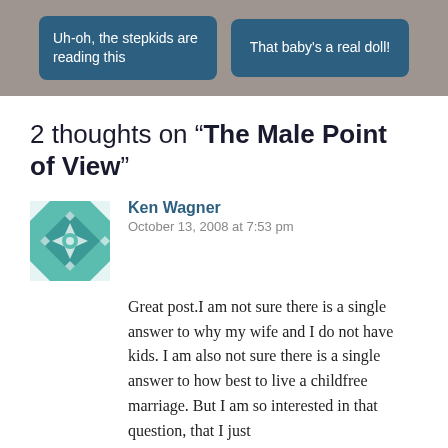Uh-oh, the stepkids are reading this | That baby's a real doll!
2 thoughts on “The Male Point of View”
Ken Wagner
October 13, 2008 at 7:53 pm
Great post.I am not sure there is a single answer to why my wife and I do not have kids. I am also not sure there is a single answer to how best to live a childfree marriage. But I am so interested in that question, that I just